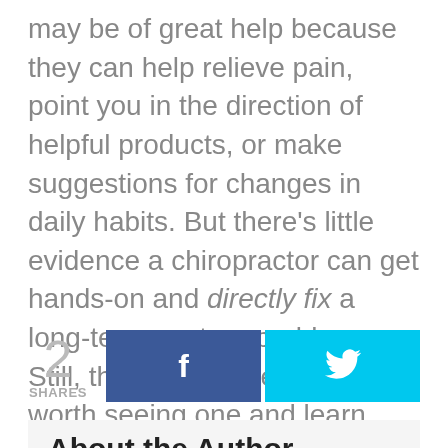may be of great help because they can help relieve pain, point you in the direction of helpful products, or make suggestions for changes in daily habits. But there's little evidence a chiropractor can get hands-on and directly fix a long-term posture problem. Still, this doesn't mean it isn't worth seeing one and learn what advice and actions they have to offer you!
[Figure (infographic): Social share count showing 2 SHARES with Facebook and Twitter share buttons]
About the Author